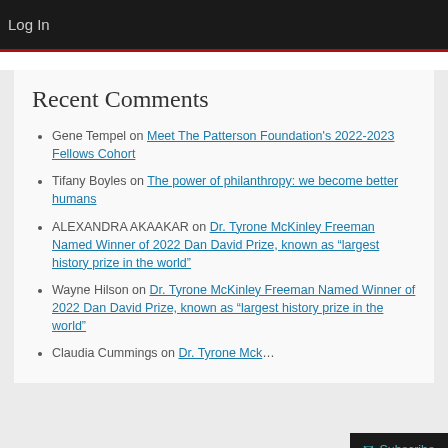Log In
Recent Comments
Gene Tempel on Meet The Patterson Foundation's 2022-2023 Fellows Cohort
Tifany Boyles on The power of philanthropy: we become better humans
ALEXANDRA AKAAKAR on Dr. Tyrone McKinley Freeman Named Winner of 2022 Dan David Prize, known as “largest history prize in the world”
Wayne Hilson on Dr. Tyrone McKinley Freeman Named Winner of 2022 Dan David Prize, known as “largest history prize in the world”
Claudia Cummings on Dr. Tyrone Mck…